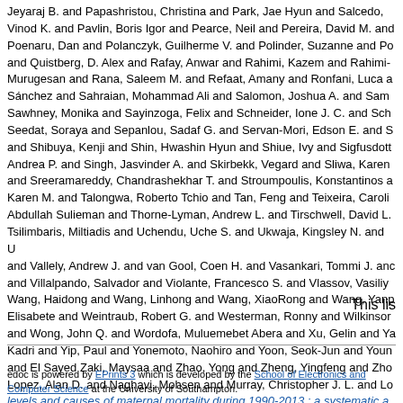Jeyaraj B. and Papashristou, Christina and Park, Jae Hyun and Salcedo, Vinod K. and Pavlin, Boris Igor and Pearce, Neil and Pereira, David M. and Poenaru, Dan and Polanczyk, Guilherme V. and Polinder, Suzanne and Po and Quistberg, D. Alex and Rafay, Anwar and Rahimi, Kazem and Rahimi- Murugesan and Rana, Saleem M. and Refaat, Amany and Ronfani, Luca a Sánchez and Sahraian, Mohammad Ali and Salomon, Joshua A. and Sam Sawhney, Monika and Sayinzoga, Felix and Schneider, Ione J. C. and Sch Seedat, Soraya and Sepanlou, Sadaf G. and Servan-Mori, Edson E. and S and Shibuya, Kenji and Shin, Hwashin Hyun and Shiue, Ivy and Sigfusdott Andrea P. and Singh, Jasvinder A. and Skirbekk, Vegard and Sliwa, Karen and Sreeramareddy, Chandrashekhar T. and Stroumpoulis, Konstantinos a Karen M. and Talongwa, Roberto Tchio and Tan, Feng and Teixeira, Caroli Abdullah Sulieman and Thorne-Lyman, Andrew L. and Tirschwell, David L. Tsilimbaris, Miltiadis and Uchendu, Uche S. and Ukwaja, Kingsley N. and U and Vallely, Andrew J. and van Gool, Coen H. and Vasankari, Tommi J. and and Villalpando, Salvador and Violante, Francesco S. and Vlassov, Vasiliy Wang, Haidong and Wang, Linhong and Wang, XiaoRong and Wang, Yan Elisabete and Weintraub, Robert G. and Westerman, Ronny and Wilkinson and Wong, John Q. and Wordofa, Muluemebet Abera and Xu, Gelin and Ya Kadri and Yip, Paul and Yonemoto, Naohiro and Yoon, Seok-Jun and Your and El Sayed Zaki, Maysaa and Zhao, Yong and Zheng, Yingfeng and Zho Lopez, Alan D. and Naghavi, Mohsen and Murray, Christopher J. L. and Lo levels and causes of maternal mortality during 1990-2013 : a systematic a 2013. Lancet, 384 (9947). pp. 980-1004.
This lis
edoc is powered by EPrints 3 which is developed by the School of Electronics and Computer Science at the University of Southampton.